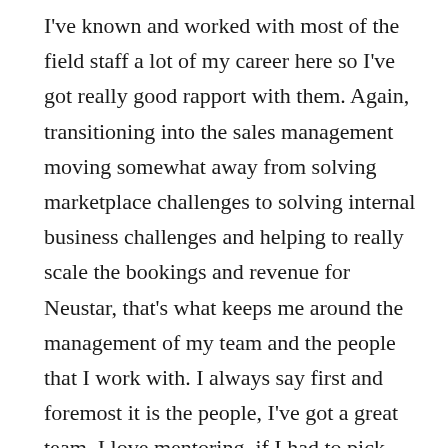I've known and worked with most of the field staff a lot of my career here so I've got really good rapport with them. Again, transitioning into the sales management moving somewhat away from solving marketplace challenges to solving internal business challenges and helping to really scale the bookings and revenue for Neustar, that's what keeps me around the management of my team and the people that I work with. I always say first and foremost it is the people, I've got a great team, I love mentoring, if I had to pick another accomplishment that I'm very proud of, just yesterday we beat all four quarters last year, we're adding all these new salespeople. I was able to promote two of my top guys into Vice President roles, two of our top performers are going to assume leadership roles and another more junior,